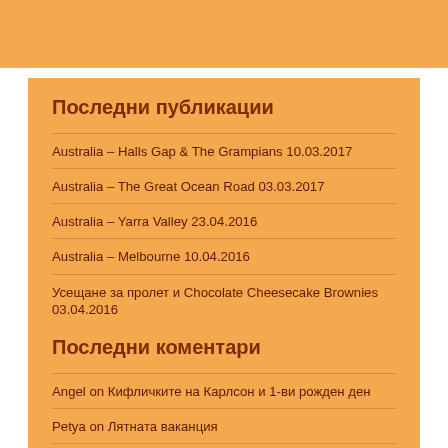Последни публикации
Australia – Halls Gap & The Grampians 10.03.2017
Australia – The Great Ocean Road 03.03.2017
Australia – Yarra Valley 23.04.2016
Australia – Melbourne 10.04.2016
Усещане за пролет и Chocolate Cheesecake Brownies 03.04.2016
Последни коментари
Angel on Кифличките на Карлсон и 1-ви рожден ден
Petya on Лятната ваканция
Red Star on Ретро